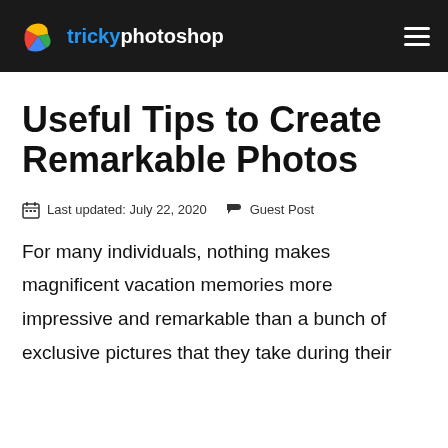trickyphotoshop
Useful Tips to Create Remarkable Photos
Last updated: July 22, 2020   Guest Post
For many individuals, nothing makes magnificent vacation memories more impressive and remarkable than a bunch of exclusive pictures that they take during their